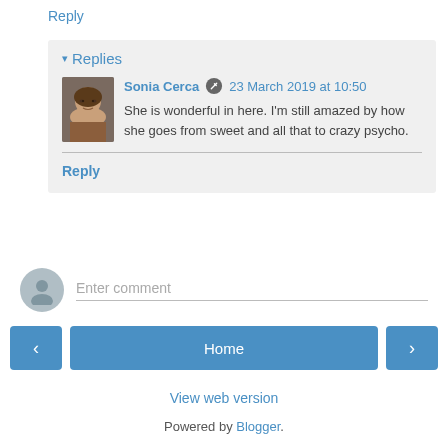Reply
▾ Replies
Sonia Cerca  23 March 2019 at 10:50
She is wonderful in here. I'm still amazed by how she goes from sweet and all that to crazy psycho.
Reply
Enter comment
‹
Home
›
View web version
Powered by Blogger.